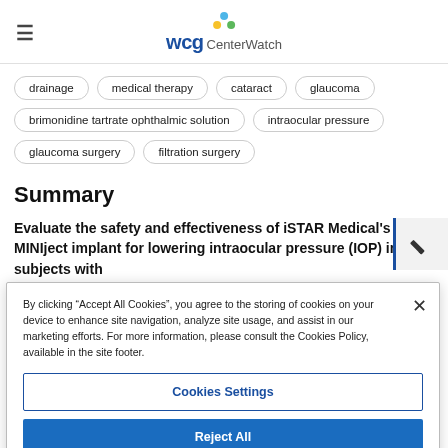WCG CenterWatch
drainage
medical therapy
cataract
glaucoma
brimonidine tartrate ophthalmic solution
intraocular pressure
glaucoma surgery
filtration surgery
Summary
Evaluate the safety and effectiveness of iSTAR Medical's MINIject implant for lowering intraocular pressure (IOP) in subjects with
By clicking “Accept All Cookies”, you agree to the storing of cookies on your device to enhance site navigation, analyze site usage, and assist in our marketing efforts. For more information, please consult the Cookies Policy, available in the site footer.
Cookies Settings
Reject All